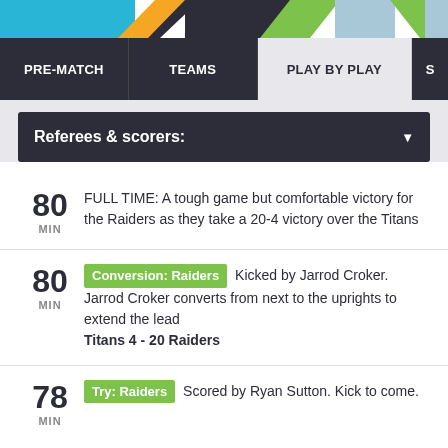[Figure (screenshot): Colorful sports website banner with blue, orange, dark, green, and grey diagonal color blocks]
PRE-MATCH | TEAMS | PLAY BY PLAY | S
Referees & scorers:
80 MIN — FULL TIME: A tough game but comfortable victory for the Raiders as they take a 20-4 victory over the Titans
80 MIN — Conversion: Raiders Kicked by Jarrod Croker. Jarrod Croker converts from next to the uprights to extend the lead. Titans 4 - 20 Raiders
78 MIN — Try: Raiders Scored by Ryan Sutton. Kick to come.